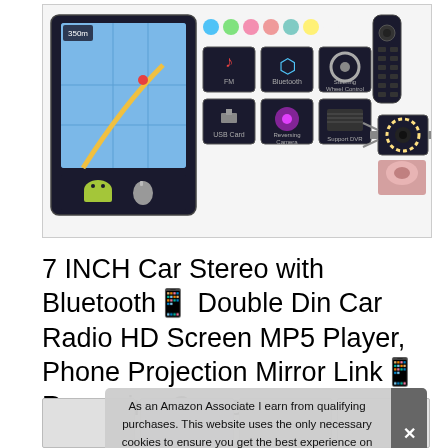[Figure (photo): Product listing image for a 7 inch car stereo with Bluetooth. Shows a car head unit display with navigation map, feature icons (FM, Bluetooth, Steering Wheel Control, USB Card, Reversing Camera, Support DVR), Android and Apple logos, a remote control, and a backup camera.]
7 INCH Car Stereo with Bluetooth， Double Din Car Radio HD Screen MP5 Player, Phone Projection Mirror Link， Reversing Camera
#ad
As an Amazon Associate I earn from qualifying purchases. This website uses the only necessary cookies to ensure you get the best experience on our website. More information